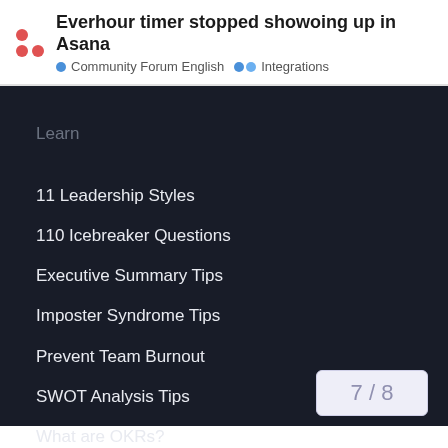Everhour timer stopped showoing up in Asana · Community Forum English · Integrations
Learn
11 Leadership Styles
110 Icebreaker Questions
Executive Summary Tips
Imposter Syndrome Tips
Prevent Team Burnout
SWOT Analysis Tips
What are OKRs?
What are SMART Goals?
What is Scope Creep?
7 / 8